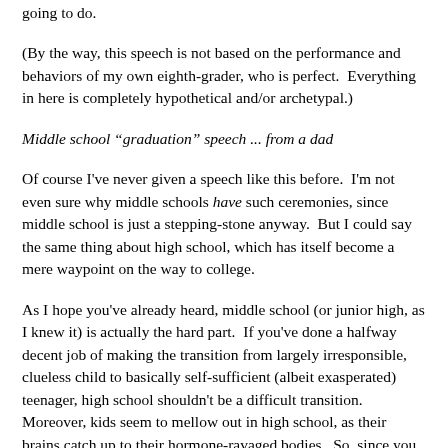going to do.
(By the way, this speech is not based on the performance and behaviors of my own eighth-grader, who is perfect.  Everything in here is completely hypothetical and/or archetypal.)
Middle school “graduation” speech ... from a dad
Of course I've never given a speech like this before.  I'm not even sure why middle schools have such ceremonies, since middle school is just a stepping-stone anyway.  But I could say the same thing about high school, which has itself become a mere waypoint on the way to college.
As I hope you've already heard, middle school (or junior high, as I knew it) is actually the hard part.  If you've done a halfway decent job of making the transition from largely irresponsible, clueless child to basically self-sufficient (albeit exasperated) teenager, high school shouldn't be a difficult transition.  Moreover, kids seem to mellow out in high school, as their brains catch up to their hormone-ravaged bodies.  So, since you matriculating middle-schoolers are all going to be just fine,